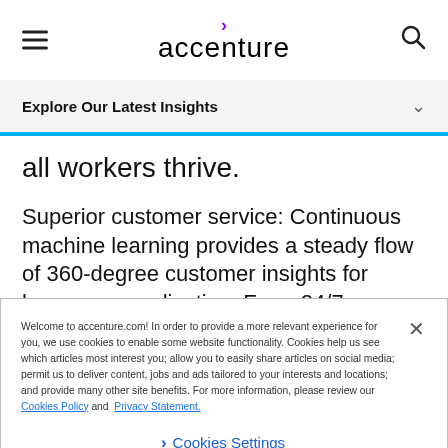accenture
Explore Our Latest Insights
all workers thrive.
Superior customer service: Continuous machine learning provides a steady flow of 360-degree customer insights for hyper personalization. From 24/7 chatbots to faster help
Welcome to accenture.com! In order to provide a more relevant experience for you, we use cookies to enable some website functionality. Cookies help us see which articles most interest you; allow you to easily share articles on social media; permit us to deliver content, jobs and ads tailored to your interests and locations; and provide many other site benefits. For more information, please review our Cookies Policy and Privacy Statement.
Cookies Settings
Download Accenture Foresight app